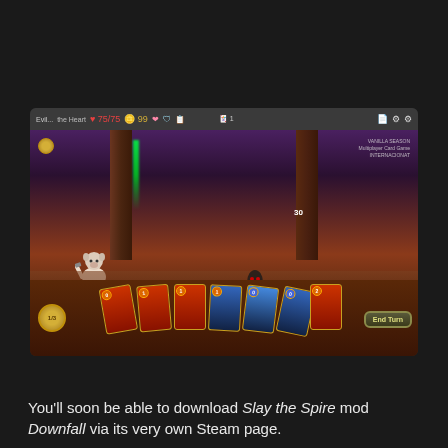[Figure (screenshot): Screenshot of the Slay the Spire mod Downfall gameplay, showing a character battle scene with cards at the bottom of the screen, a HUD at the top showing health 75/75 and gold 99, enemies in the dungeon corridor, and an End Turn button.]
You'll soon be able to download Slay the Spire mod Downfall via its very own Steam page.